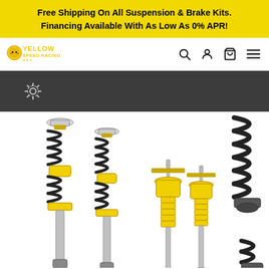Free Shipping On All Suspension & Brake Kits. Financing Available With As Low As 0% APR!
[Figure (logo): Yellow Speed Racing USA logo with a yellow cartoon character]
[Figure (screenshot): Dark loading bar with a spinning gear/loading icon in the center]
[Figure (photo): Coilover suspension kit components: two full coilovers with yellow and black springs, two bare shock absorbers with yellow collars, and a separate black coil spring with mount]